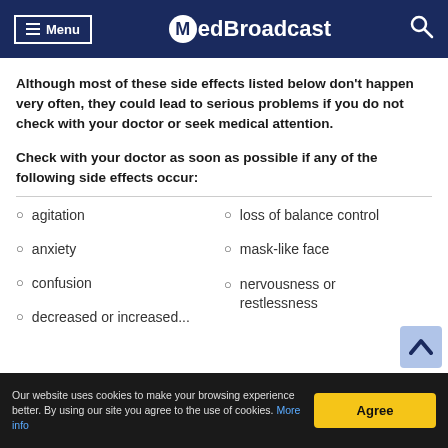Menu | MedBroadcast
Although most of these side effects listed below don't happen very often, they could lead to serious problems if you do not check with your doctor or seek medical attention.
Check with your doctor as soon as possible if any of the following side effects occur:
agitation
loss of balance control
anxiety
mask-like face
confusion
nervousness or restlessness
decreased or increased...
Our website uses cookies to make your browsing experience better. By using our site you agree to the use of cookies. More info | Agree